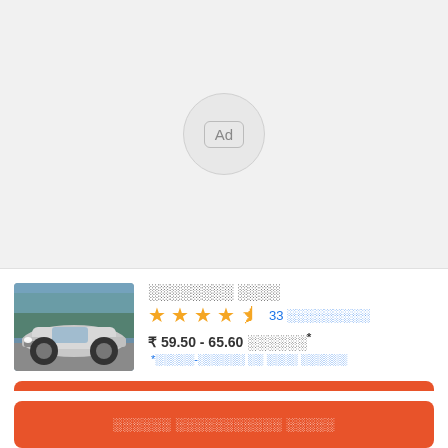[Figure (other): Ad placeholder circle with 'Ad' badge in center on light gray background]
[Figure (photo): Photo of a silver Lexus ES sedan on a road with trees in background]
░░░░░░░░ ░░░░
★★★★½ 33 ░░░░░░░░░
₹ 59.50 - 65.60 ░░░░░░* *░░░░░-░░░░░░ ░░ ░░░░ ░░░░░░
░░░░░░ ░░░░░░░░░░░ ░░░░░
░░░░░░ ░░░░░░░░░░░ ░░░░░